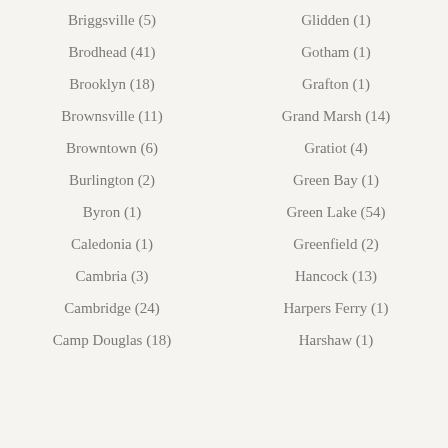Briggsville (5)
Brodhead (41)
Brooklyn (18)
Brownsville (11)
Browntown (6)
Burlington (2)
Byron (1)
Caledonia (1)
Cambria (3)
Cambridge (24)
Camp Douglas (18)
Glidden (1)
Gotham (1)
Grafton (1)
Grand Marsh (14)
Gratiot (4)
Green Bay (1)
Green Lake (54)
Greenfield (2)
Hancock (13)
Harpers Ferry (1)
Harshaw (1)